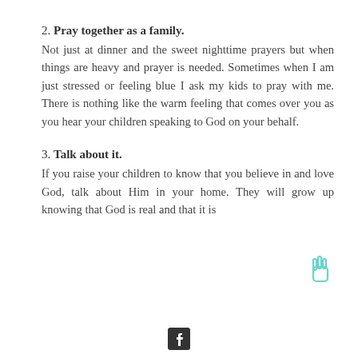2. Pray together as a family. Not just at dinner and the sweet nighttime prayers but when things are heavy and prayer is needed. Sometimes when I am just stressed or feeling blue I ask my kids to pray with me. There is nothing like the warm feeling that comes over you as you hear your children speaking to God on your behalf.
3. Talk about it. If you raise your children to know that you believe in and love God, talk about Him in your home. They will grow up knowing that God is real and that it is
[Facebook icon]